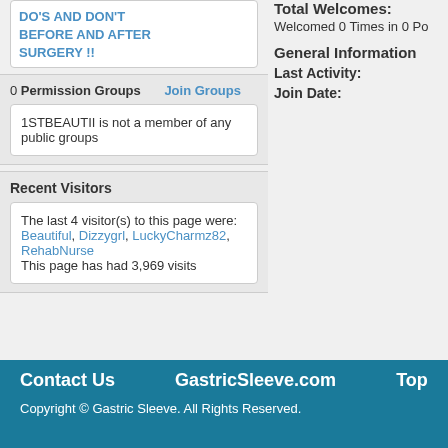DO'S AND DON'T BEFORE AND AFTER SURGERY !!
0 Permission Groups    Join Groups
1STBEAUTII is not a member of any public groups
Recent Visitors
The last 4 visitor(s) to this page were: Beautiful, Dizzygrl, LuckyCharmz82, RehabNurse
This page has had 3,969 visits
Total Welcomes:
Welcomed 0 Times in 0 Po
General Information
Last Activity:
Join Date:
Contact Us    GastricSleeve.com    Top
Copyright © Gastric Sleeve. All Rights Reserved.